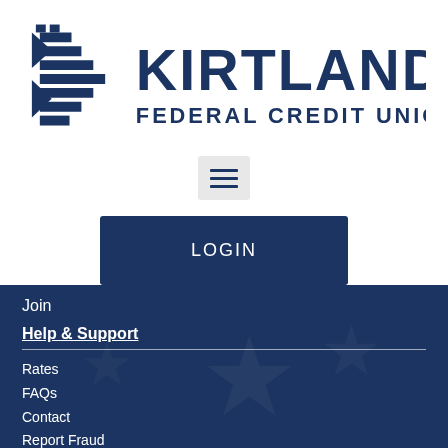[Figure (logo): Kirtland Federal Credit Union logo with stylized flag/K icon and text KIRTLAND FEDERAL CREDIT UNION in dark navy blue]
[Figure (other): Hamburger menu button icon with three horizontal bars on light gray background]
LOGIN
Join
Help & Support
Rates
FAQs
Contact
Report Fraud
Report Lost/Stolen